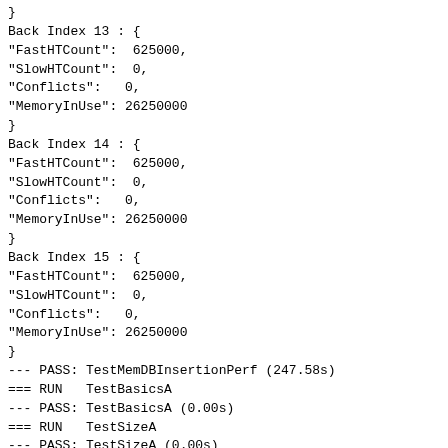}
Back Index 13 : {
"FastHTCount":  625000,
"SlowHTCount":  0,
"Conflicts":   0,
"MemoryInUse": 26250000
}
Back Index 14 : {
"FastHTCount":  625000,
"SlowHTCount":  0,
"Conflicts":   0,
"MemoryInUse": 26250000
}
Back Index 15 : {
"FastHTCount":  625000,
"SlowHTCount":  0,
"Conflicts":   0,
"MemoryInUse": 26250000
}
--- PASS: TestMemDBInsertionPerf (247.58s)
=== RUN   TestBasicsA
--- PASS: TestBasicsA (0.00s)
=== RUN   TestSizeA
--- PASS: TestSizeA (0.00s)
=== RUN   TestSizeWithFreelistA
--- PASS: TestSizeWithFreelistA (0.00s)
=== RUN   TestDequeueUptoSeqnoA
--- PASS: TestDequeueUptoSeqnoA (0.10s)
=== RUN   TestDequeueA
--- PASS: TestDequeueA (1.21s)
=== RUN   TestMultipleVbucketsA